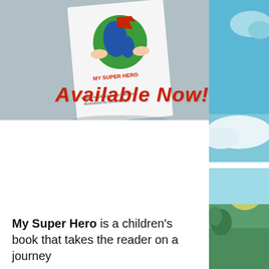[Figure (photo): Photo of the children's book 'My Super Hero' written by Jill Schroeder Hemann, illustrations by Olivia Beaty. The book cover shows a globe with hands around it and a superhero cape. The text 'Available Now!' is displayed in large bold red italic font over the photo. Right side has a decorative illustrated background with sky, clouds, and landscape.]
My Super Hero is a children's book that takes the reader on a journey